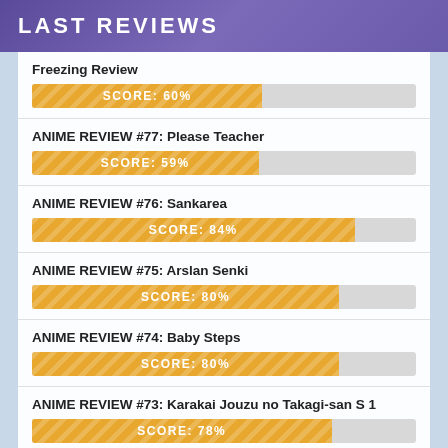LAST REVIEWS
Freezing Review
[Figure (bar-chart): Score bar]
ANIME REVIEW #77: Please Teacher
[Figure (bar-chart): Score bar]
ANIME REVIEW #76: Sankarea
[Figure (bar-chart): Score bar]
ANIME REVIEW #75: Arslan Senki
[Figure (bar-chart): Score bar]
ANIME REVIEW #74: Baby Steps
[Figure (bar-chart): Score bar]
ANIME REVIEW #73: Karakai Jouzu no Takagi-san S 1
[Figure (bar-chart): Score bar]